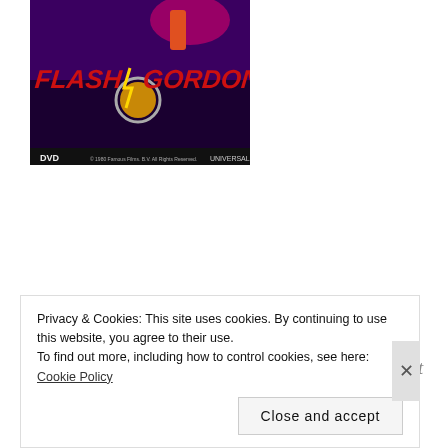[Figure (photo): DVD cover of Flash Gordon (1980) showing the movie title in red and yellow stylized lettering against a dark space background with characters, DVD logo bottom left, Universal logo bottom right.]
4. Flash Gordon (1980).
A football player and his friends travel to the planet Mongo and find themselves fighting the tyranny of
Privacy & Cookies: This site uses cookies. By continuing to use this website, you agree to their use.
To find out more, including how to control cookies, see here: Cookie Policy
Close and accept